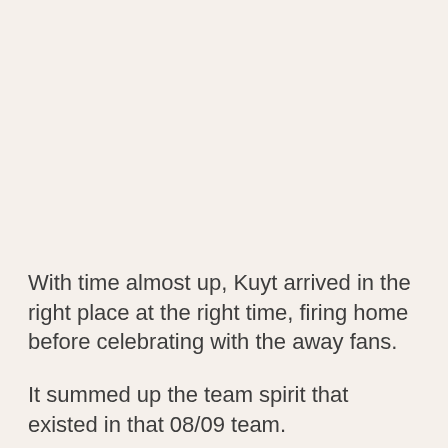With time almost up, Kuyt arrived in the right place at the right time, firing home before celebrating with the away fans.
It summed up the team spirit that existed in that 08/09 team.